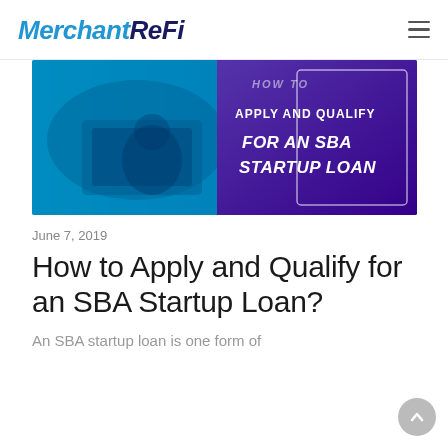MerchantReFi
[Figure (photo): Blue-tinted hero banner showing people working on laptops/tablets with overlaid text reading 'HOW TO APPLY AND QUALIFY FOR AN SBA STARTUP LOAN']
June 7, 2019
How to Apply and Qualify for an SBA Startup Loan?
An SBA startup loan is one form of